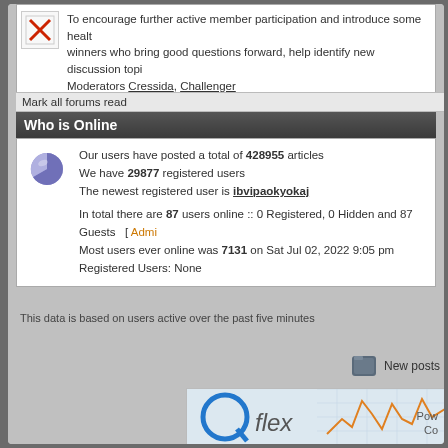To encourage further active member participation and introduce some health winners who bring good questions forward, help identify new discussion topi Moderators Cressida, Challenger
Mark all forums read
Who is Online
Our users have posted a total of 428955 articles
We have 29877 registered users
The newest registered user is ibvipaokyokaj
In total there are 87 users online :: 0 Registered, 0 Hidden and 87 Guests   [ Admin
Most users ever online was 7131 on Sat Jul 02, 2022 9:05 pm
Registered Users: None
This data is based on users active over the past five minutes
New posts
Pow
Co